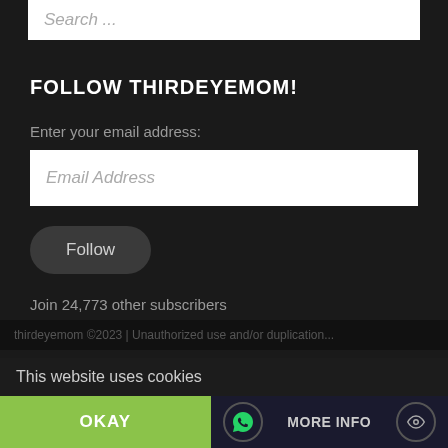Search ...
FOLLOW THIRDEYEMOM!
Enter your email address:
Email Address
Follow
Join 24,773 other subscribers
© COPYRIGHT: ALL RIGHTS RESERVED.
thirdeyemom ©2023 | Unauthorized use and/or duplication...
This website uses cookies
OKAY
MORE INFO